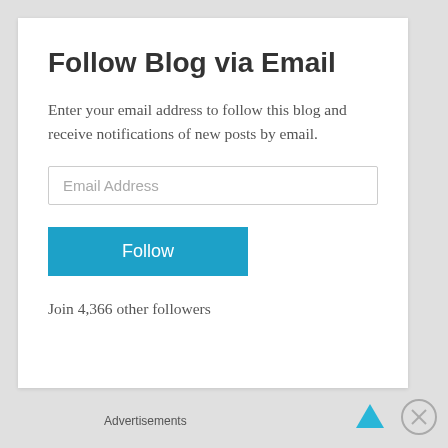Follow Blog via Email
Enter your email address to follow this blog and receive notifications of new posts by email.
Email Address
Follow
Join 4,366 other followers
Advertisements